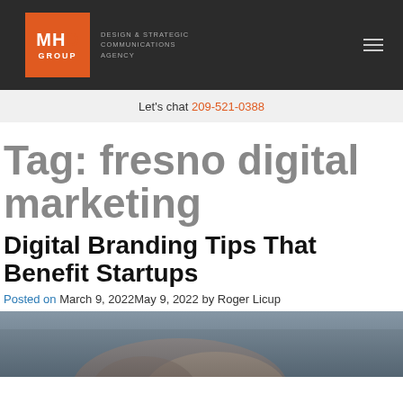MHD GROUP — DESIGN & STRATEGIC COMMUNICATIONS AGENCY
Let's chat 209-521-0388
Tag: fresno digital marketing
Digital Branding Tips That Benefit Startups
Posted on March 9, 2022May 9, 2022 by Roger Licup
[Figure (photo): Blurred photo of people at a meeting table, taken from above at an angle]